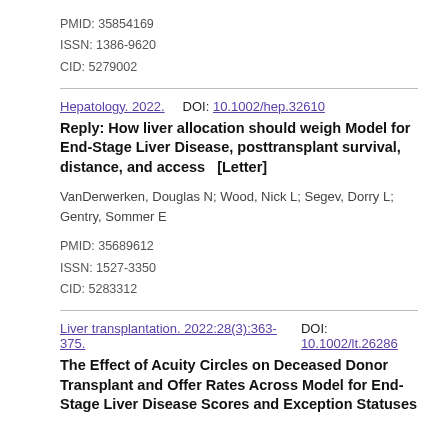PMID: 35854169
ISSN: 1386-9620
CID: 5279002
Hepatology. 2022.    DOI: 10.1002/hep.32610
Reply: How liver allocation should weigh Model for End-Stage Liver Disease, posttransplant survival, distance, and access   [Letter]
VanDerwerken, Douglas N; Wood, Nick L; Segev, Dorry L; Gentry, Sommer E
PMID: 35689612
ISSN: 1527-3350
CID: 5283312
Liver transplantation. 2022:28(3):363-375.    DOI: 10.1002/lt.26286
The Effect of Acuity Circles on Deceased Donor Transplant and Offer Rates Across Model for End-Stage Liver Disease Scores and Exception Statuses